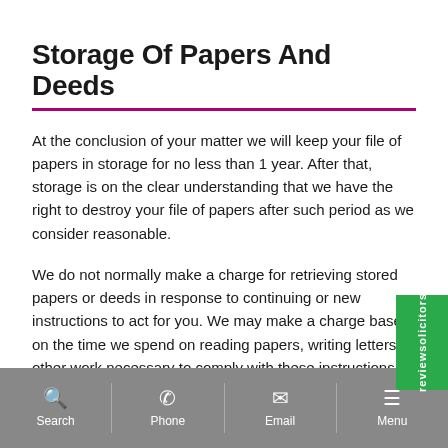Storage Of Papers And Deeds
At the conclusion of your matter we will keep your file of papers in storage for no less than 1 year. After that, storage is on the clear understanding that we have the right to destroy your file of papers after such period as we consider reasonable.
We do not normally make a charge for retrieving stored papers or deeds in response to continuing or new instructions to act for you. We may make a charge based on the time we spend on reading papers, writing letters or other work necessary to comply with these instructions. These charges will be made at the hourly charging rates which are current at the time of your request.
Search | Phone | Email | Menu